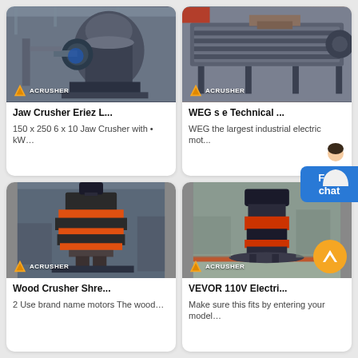[Figure (photo): Industrial jaw crusher machine in factory setting with Acrusher logo badge]
Jaw Crusher Eriez L...
150 x 250 6 x 10 Jaw Crusher with • kW…
[Figure (photo): WEG industrial electric motor / vibrating screen equipment in factory with Acrusher logo badge]
WEG s e Technical ...
WEG the largest industrial electric mot...
[Figure (photo): Wood crusher shredder machine with orange/red accents in factory with Acrusher logo badge]
Wood Crusher Shre...
2 Use brand name motors The wood…
[Figure (photo): VEVOR electric crusher/mill machine in large factory hall with Acrusher logo badge and orange scroll-up button]
VEVOR 110V Electri...
Make sure this fits by entering your model…